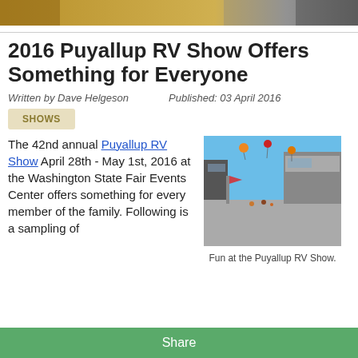[Figure (photo): Top banner image showing outdoor scene]
2016 Puyallup RV Show Offers Something for Everyone
Written by Dave Helgeson   Published: 03 April 2016
SHOWS
The 42nd annual Puyallup RV Show April 28th - May 1st, 2016 at the Washington State Fair Events Center offers something for every member of the family. Following is a sampling of
[Figure (photo): Photo of RVs parked at the Puyallup RV Show outdoor event]
Fun at the Puyallup RV Show.